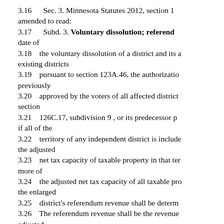3.16 Sec. 3. Minnesota Statutes 2012, section 1... amended to read:
3.17 Subd. 3. Voluntary dissolution; referend... date of
3.18 the voluntary dissolution of a district and its a... existing districts
3.19 pursuant to section 123A.46, the authorizatio... previously
3.20 approved by the voters of all affected districts... section
3.21 126C.17, subdivision 9 , or its predecessor pr... if all of the
3.22 territory of any independent district is include... the adjusted
3.23 net tax capacity of taxable property in that ter... more of
3.24 the adjusted net tax capacity of all taxable pro... the enlarged
3.25 district's referendum revenue shall be determ...
3.26 The referendum revenue shall be the revenue... adjusted
3.27 puil unit times the number of resident marg...